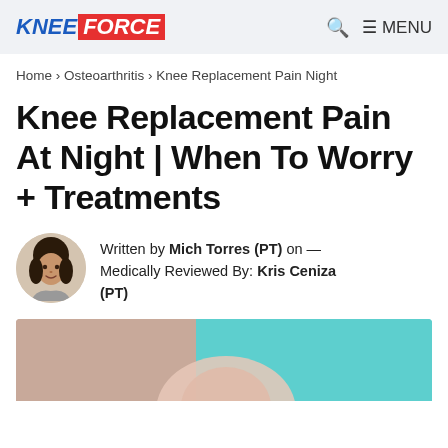KNEE FORCE | MENU
Home › Osteoarthritis › Knee Replacement Pain Night
Knee Replacement Pain At Night | When To Worry + Treatments
Written by Mich Torres (PT) on — Medically Reviewed By: Kris Ceniza (PT)
[Figure (photo): Hero image showing a knee or leg with teal and beige/skin-tone background colors, partially visible at the bottom of the page.]